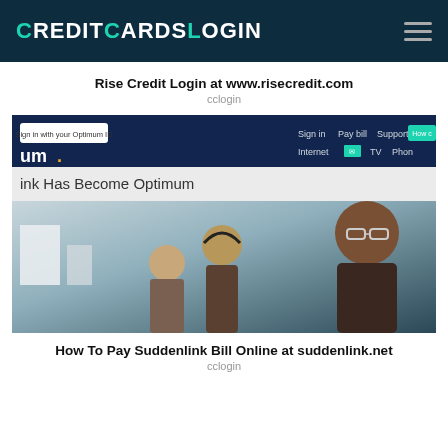CreditCardsLogin
Rise Credit Login at www.risecredit.com
cclogin
[Figure (screenshot): Screenshot of Optimum website showing navigation bar with Sign in, Pay bill, Support options and Internet, TV, Phone services, with headline 'ink Has Become Optimum' and a photo of office workers]
How To Pay Suddenlink Bill Online at suddenlink.net
cclogin